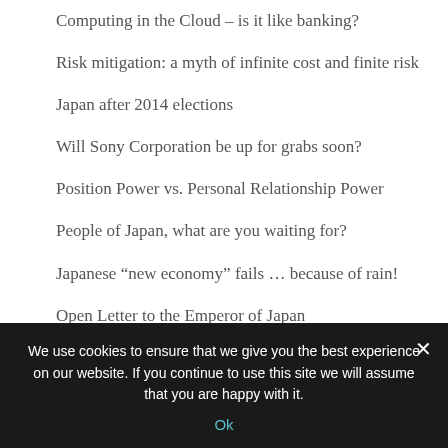Computing in the Cloud – is it like banking?
Risk mitigation: a myth of infinite cost and finite risk
Japan after 2014 elections
Will Sony Corporation be up for grabs soon?
Position Power vs. Personal Relationship Power
People of Japan, what are you waiting for?
Japanese “new economy” fails … because of rain!
Open Letter to the Emperor of Japan
The story of economic sanctions as told by PMI
TAGS
We use cookies to ensure that we give you the best experience on our website. If you continue to use this site we will assume that you are happy with it.
Ok